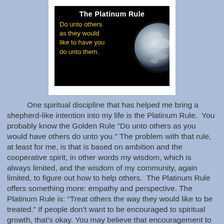[Figure (illustration): Black background image card showing 'The Platinum Rule' in white bold text, with yellow text below reading 'Do unto others as they would like to have you do unto them.' and a black-and-white photo of Earth on the right side.]
One spiritual discipline that has helped me bring a shepherd-like intention into my life is the Platinum Rule. You probably know the Golden Rule "Do unto others as you would have others do unto you." The problem with that rule, at least for me, is that is based on ambition and the cooperative spirit, in other words my wisdom, which is always limited, and the wisdom of my community, again limited, to figure out how to help others. The Platinum Rule offers something more: empathy and perspective. The Platinum Rule is: “Treat others the way they would like to be treated.” If people don’t want to be encouraged to spiritual growth, that’s okay. You may believe that encouragement to spiritual growth is the most important part of being a Unitarian Universalist